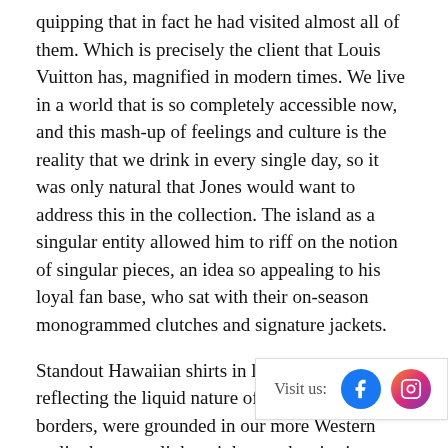quipping that in fact he had visited almost all of them. Which is precisely the client that Louis Vuitton has, magnified in modern times. We live in a world that is so completely accessible now, and this mash-up of feelings and culture is the reality that we drink in every single day, so it was only natural that Jones would want to address this in the collection. The island as a singular entity allowed him to riff on the notion of singular pieces, an idea so appealing to his loyal fan base, who sat with their on-season monogrammed clutches and signature jackets.
Standout Hawaiian shirts in layered organza, reflecting the liquid nature of the island's borders, were grounded in our more Western reality by super-lightweight ponchos in ripstop nylon. Multiple variations on scuba pants showed us that Jones' man, though living the isla... ready and willing to dive into the... moment.
[Figure (other): Social media visit prompt box with Facebook and Instagram icons, text 'Visit us:']